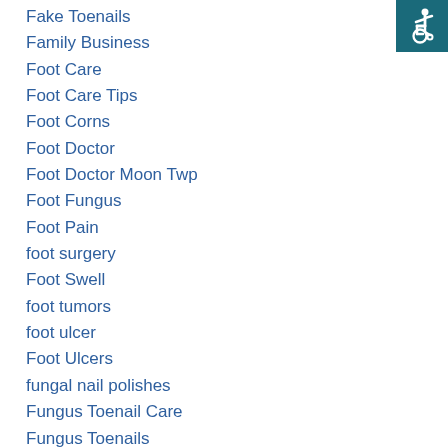Fake Toenails
Family Business
Foot Care
Foot Care Tips
Foot Corns
Foot Doctor
Foot Doctor Moon Twp
Foot Fungus
Foot Pain
foot surgery
Foot Swell
foot tumors
foot ulcer
Foot Ulcers
fungal nail polishes
Fungus Toenail Care
Fungus Toenails
[Figure (logo): Wheelchair accessibility icon — white figure in wheelchair on teal/dark cyan square background]